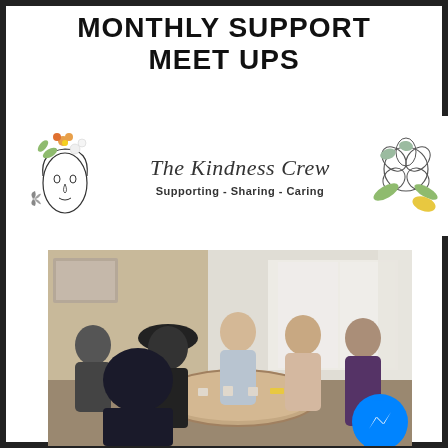MONTHLY SUPPORT MEET UPS
[Figure (logo): The Kindness Crew logo with illustrated face and flowers on left, script text 'The Kindness Crew' in center, tagline 'Supporting - Sharing - Caring', and rose illustration on right]
[Figure (photo): Group of women sitting around a round table in a meeting room, having a support group meet up. A Facebook Messenger icon is visible in the bottom right corner.]